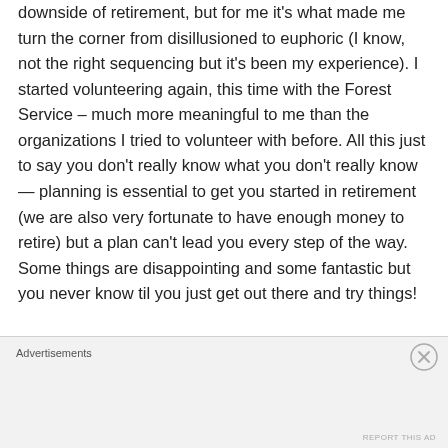downside of retirement, but for me it's what made me turn the corner from disillusioned to euphoric (I know, not the right sequencing but it's been my experience). I started volunteering again, this time with the Forest Service – much more meaningful to me than the organizations I tried to volunteer with before. All this just to say you don't really know what you don't really know — planning is essential to get you started in retirement (we are also very fortunate to have enough money to retire) but a plan can't lead you every step of the way. Some things are disappointing and some fantastic but you never know til you just get out there and try things!
Advertisements